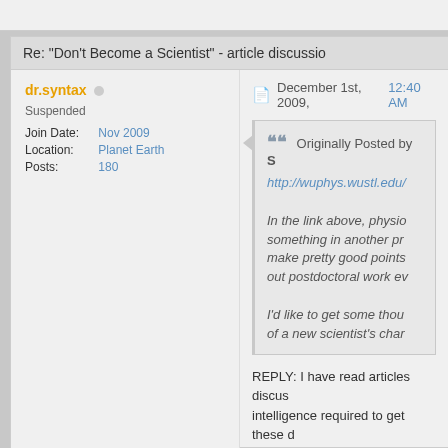Re: "Don't Become a Scientist" - article discussio
dr.syntax
Suspended
Join Date: Nov 2009
Location: Planet Earth
Posts: 180
December 1st, 2009, 12:40 AM
Originally Posted by S
http://wuphys.wustl.edu/
In the link above, physio... something in another pr... make pretty good points... out postdoctoral work ev...
I'd like to get some thou... of a new scientist's char...
REPLY: I have read articles discus... intelligence required to get these d... see what these articles are talking...